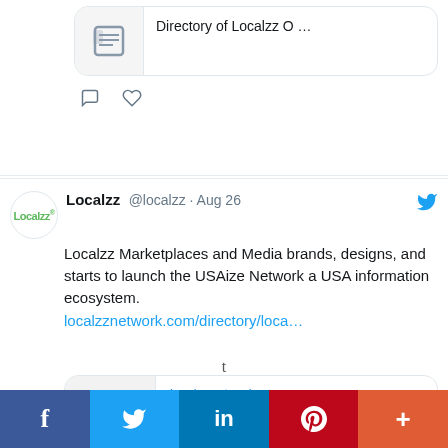[Figure (screenshot): Partial top tweet card showing link preview with 'Directory of Localzz O ...' text and two action icons (comment, heart)]
Localzz @localzz · Aug 26
Localzz Marketplaces and Media brands, designs, and starts to launch the USAize Network a USA information ecosystem.
localzznetwork.com/directory/loca...
[Figure (screenshot): Link preview card showing localzznetwork.com / Localzz Network - Directory of Localzz O ...]
t
[Figure (infographic): Social share bar with Facebook (f), Twitter (bird), LinkedIn (in), Pinterest (P), and More (+) buttons]